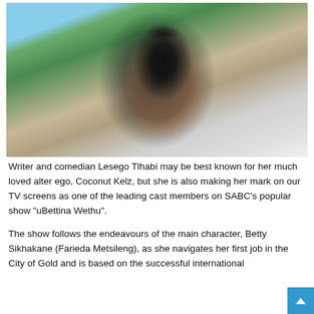[Figure (photo): Photo of Lesego Tlhabi, a Black woman with long black curly hair, wearing a black t-shirt and light blue denim jacket with silver/metallic bottoms, making a peace sign with one hand and smiling broadly. She is standing outdoors with green plants and a light-colored building/pillar in the background.]
Writer and comedian Lesego Tlhabi may be best known for her much loved alter ego, Coconut Kelz, but she is also making her mark on our TV screens as one of the leading cast members on SABC's popular show "uBettina Wethu".
The show follows the endeavours of the main character, Betty Sikhakane (Farieda Metsileng), as she navigates her first job in the City of Gold and is based on the successful international